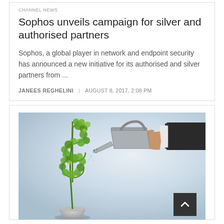CHANNEL NEWS
Sophos unveils campaign for silver and authorised partners
Sophos, a global player in network and endpoint security has announced a new initiative for its authorised and silver partners from ...
JANEES REGHELINI | AUGUST 8, 2017, 2:08 PM
[Figure (photo): A hand in a business suit holding a metal watering can, watering a green plant shaped like a dollar sign growing from a white pot, against a light blue-grey background.]